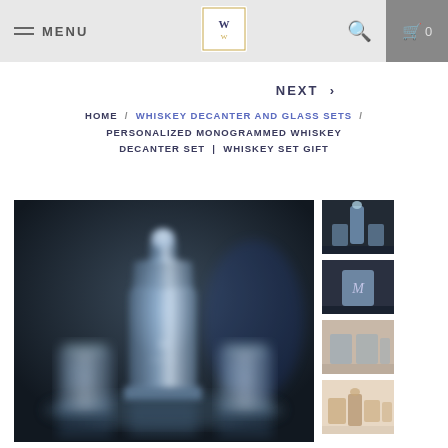MENU | [logo] | [search] | 0
NEXT >
HOME / WHISKEY DECANTER AND GLASS SETS / PERSONALIZED MONOGRAMMED WHISKEY DECANTER SET | WHISKEY SET GIFT
[Figure (photo): Blurred photo of a personalized monogrammed whiskey decanter set with two glasses on a dark background]
[Figure (photo): Thumbnail: whiskey decanter and glasses set]
[Figure (photo): Thumbnail: monogrammed whiskey glass with letter M]
[Figure (photo): Thumbnail: engraved whiskey glasses]
[Figure (photo): Thumbnail: whiskey decanter gift set lifestyle photo]